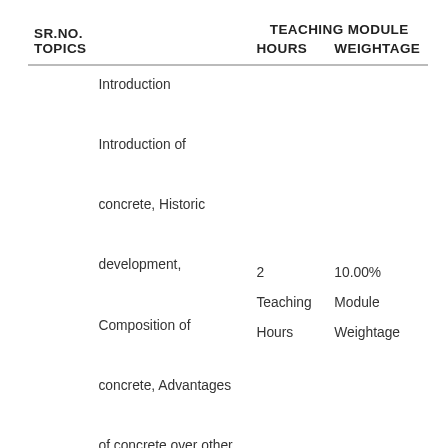| SR.NO. | TOPICS | TEACHING MODULE HOURS | TEACHING MODULE WEIGHTAGE |
| --- | --- | --- | --- |
| 1 | Introduction Introduction of concrete, Historic development, Composition of concrete, Advantages of concrete over other materials, Advances and future trends in concrete, Overview of Sustainability and Concrete | 2 Teaching Hours | 10.00% Module Weightage |